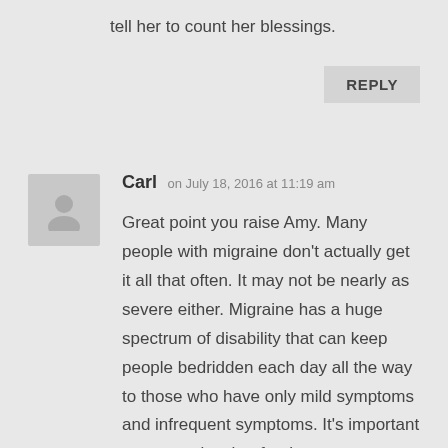tell her to count her blessings.
REPLY
Carl on July 18, 2016 at 11:19 am
Great point you raise Amy. Many people with migraine don't actually get it all that often. It may not be nearly as severe either. Migraine has a huge spectrum of disability that can keep people bedridden each day all the way to those who have only mild symptoms and infrequent symptoms. It's important we recognise that for the reasons you